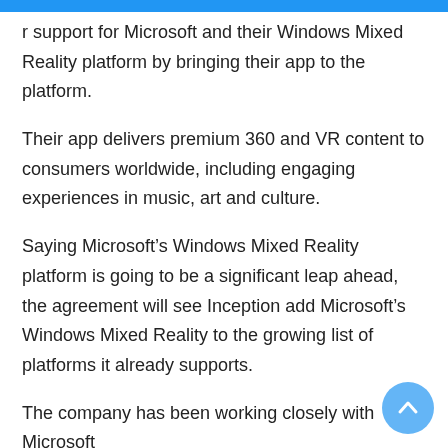support for Microsoft and their Windows Mixed Reality platform by bringing their app to the platform.
Their app delivers premium 360 and VR content to consumers worldwide, including engaging experiences in music, art and culture.
Saying Microsoft’s Windows Mixed Reality platform is going to be a significant leap ahead, the agreement will see Inception add Microsoft’s Windows Mixed Reality to the growing list of platforms it already supports.
The company has been working closely with Microsoft